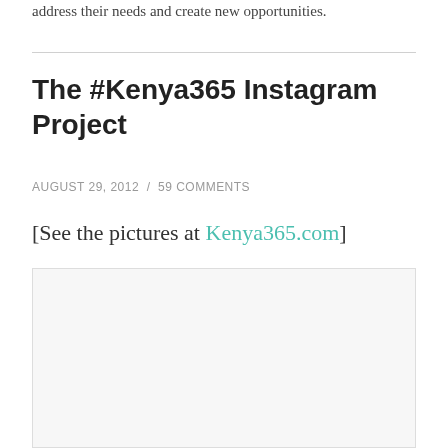address their needs and create new opportunities.
The #Kenya365 Instagram Project
AUGUST 29, 2012 / 59 COMMENTS
[See the pictures at Kenya365.com]
[Figure (photo): Empty white/light gray image placeholder box]